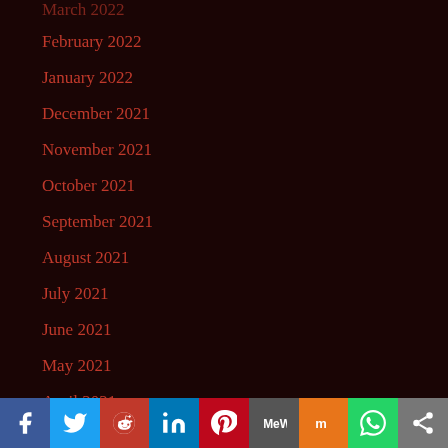March 2022
February 2022
January 2022
December 2021
November 2021
October 2021
September 2021
August 2021
July 2021
June 2021
May 2021
April 2021
March 2021
February 2021
Facebook Twitter Reddit LinkedIn Pinterest MeWe Mix WhatsApp Share